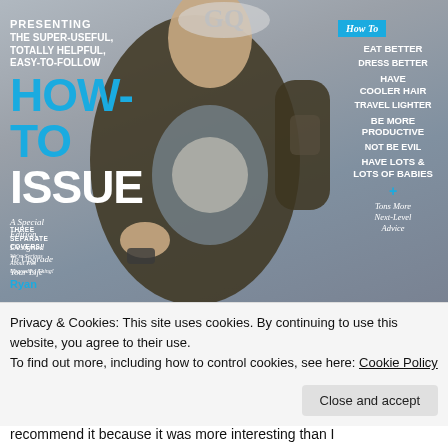[Figure (photo): GQ magazine cover showing a man in a dark corduroy blazer over a graphic t-shirt, pulling his lapel, with tattoo visible on arm. Gray background. Cover text includes 'PRESENTING THE SUPER-USEFUL, TOTALLY HELPFUL, EASY-TO-FOLLOW HOW-TO ISSUE' in white and cyan. Right side panel lists: How To EAT BETTER, Dress Better, HAVE COOLER HAIR, Travel Lighter, BE MORE PRODUCTIVE, Not Be Evil, HAVE LOTS & LOTS OF BABIES, + Tons More Next-Level Advice. Bottom left: THREE SEPARATE COVERS!, We're Serious About This Upgrading Thing!, Ryan (name cut off).]
Privacy & Cookies: This site uses cookies. By continuing to use this website, you agree to their use.
To find out more, including how to control cookies, see here: Cookie Policy
Close and accept
recommend it because it was more interesting than I